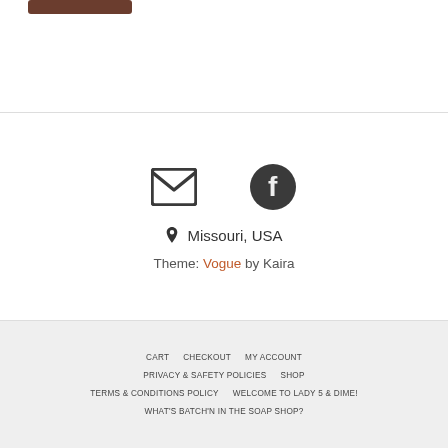[Figure (other): Brown rounded rectangle bar at top left, partial UI element]
[Figure (other): Email envelope icon (dark grey outline) and Facebook circle icon (dark filled) side by side]
📍 Missouri, USA
Theme: Vogue by Kaira
CART   CHECKOUT   MY ACCOUNT   PRIVACY & SAFETY POLICIES   SHOP   TERMS & CONDITIONS POLICY   WELCOME TO LADY 5 & DIME!   WHAT'S BATCH'N IN THE SOAP SHOP?